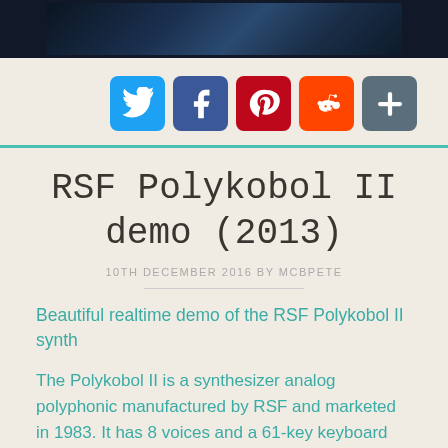[Figure (photo): Dark photograph of a keyboard/synthesizer or nighttime scene]
[Figure (infographic): Social sharing buttons: Twitter (blue bird), Facebook (blue f), Pinterest (red P), Reddit (orange alien), Share (grey plus)]
RSF Polykobol II demo (2013)
10TH DECEMBER 2016 BY MCBPETE
Beautiful realtime demo of the RSF Polykobol II synth
The Polykobol II is a synthesizer analog polyphonic manufactured by RSF and marketed in 1983. It has 8 voices and a 61-key keyboard and a backup K7